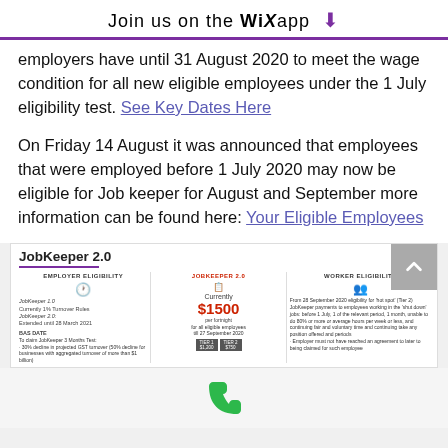Join us on the WiX app ⬇
employers have until 31 August 2020 to meet the wage condition for all new eligible employees under the 1 July eligibility test. See Key Dates Here
On Friday 14 August it was announced that employees that were employed before 1 July 2020 may now be eligible for Job keeper for August and September more information can be found here: Your Eligible Employees
[Figure (infographic): JobKeeper 2.0 infographic showing Employer Eligibility, JobKeeper 2.0 current rate of $1500 per fortnight, and Worker Eligibility sections with icons and bullet points]
[Figure (infographic): Phone icon (green) at bottom of page]